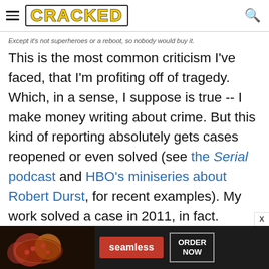CRACKED
Except it's not superheroes or a reboot, so nobody would buy it.
This is the most common criticism I've faced, that I'm profiting off of tragedy. Which, in a sense, I suppose is true -- I make money writing about crime. But this kind of reporting absolutely gets cases reopened or even solved (see the Serial podcast and HBO's miniseries about Robert Durst, for recent examples). My work solved a case in 2011, in fact.
A 12-year-old named Tina Harmon had been abducted
[Figure (other): Seamless food delivery advertisement banner at bottom of page]